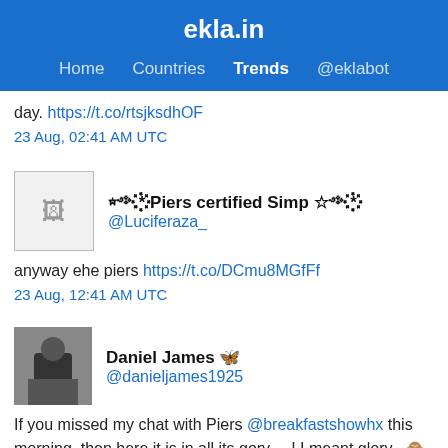ekla.in
Home  Countries  Trends  @eklabot
day. https://t.co/rtsjksdhOF
23 Aug, 02:41 AM UTC
☆༺.*꙰꙰꙰ Piers certified Simp ☆༺.*꙰꙰꙰
@Luciferaza_
anyway ehe piers https://t.co/DCmu8MGfFf
23 Aug, 12:41 AM UTC
Daniel James 🦋
@danieljames1925
If you missed my chat with Piers @breakfastshowhx this morning..then here it is in all its gory.....! I meant glory...🙈. Plus a chance to hear my new single Do You Remember